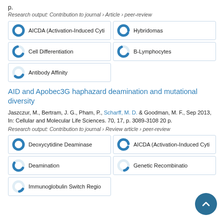p.
Research output: Contribution to journal › Article › peer-review
AICDA (Activation-Induced Cyti
Hybridomas
Cell Differentiation
B-Lymphocytes
Antibody Affinity
AID and Apobec3G haphazard deamination and mutational diversity
Jaszczur, M., Bertram, J. G., Pham, P., Scharff, M. D. & Goodman, M. F., Sep 2013, In: Cellular and Molecular Life Sciences. 70, 17, p. 3089-3108 20 p.
Research output: Contribution to journal › Review article › peer-review
Deoxycytidine Deaminase
AICDA (Activation-Induced Cyti
Deamination
Genetic Recombinatio
Immunoglobulin Switch Regio